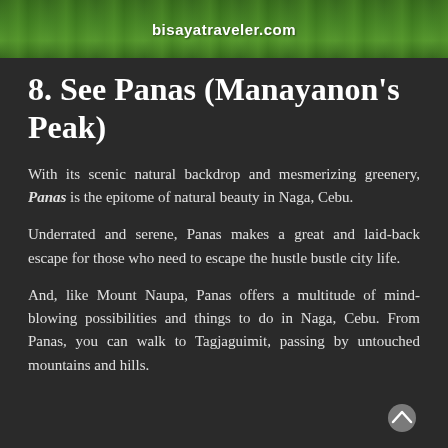[Figure (photo): Green scenic natural landscape/greenery strip with bisayatraveler.com watermark text overlay]
8. See Panas (Manayanon's Peak)
With its scenic natural backdrop and mesmerizing greenery, Panas is the epitome of natural beauty in Naga, Cebu.
Underrated and serene, Panas makes a great and laid-back escape for those who need to escape the hustle bustle city life.
And, like Mount Naupa, Panas offers a multitude of mind-blowing possibilities and things to do in Naga, Cebu. From Panas, you can walk to Tagjaguimit, passing by untouched mountains and hills.